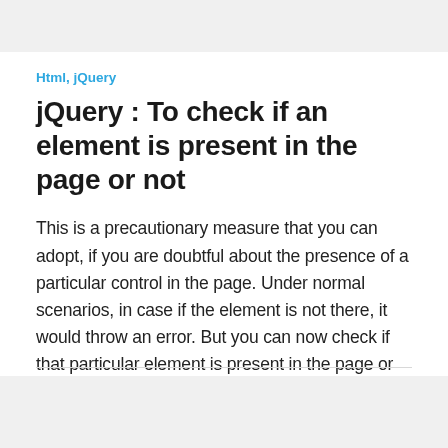Html, jQuery
jQuery : To check if an element is present in the page or not
This is a precautionary measure that you can adopt, if you are doubtful about the presence of a particular control in the page. Under normal scenarios, in case if the element is not there, it would throw an error. But you can now check if that particular element is present in the page or not, …
By aackose on February 1, 2010